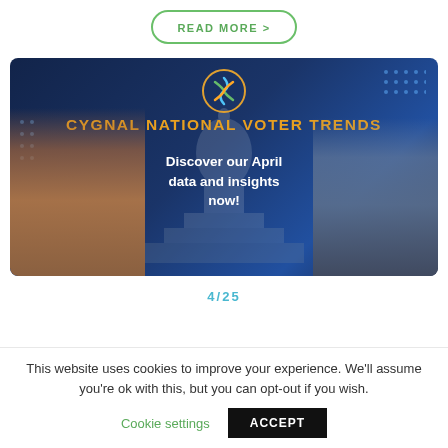READ MORE >
[Figure (photo): Cygnal National Voter Trends banner with dark blue background showing the US Capitol dome, two men's faces on either side, Cygnal logo at top, orange title text 'CYGNAL NATIONAL VOTER TRENDS', and white subtitle text 'Discover our April data and insights now!']
4/25
This website uses cookies to improve your experience. We'll assume you're ok with this, but you can opt-out if you wish.
Cookie settings
ACCEPT